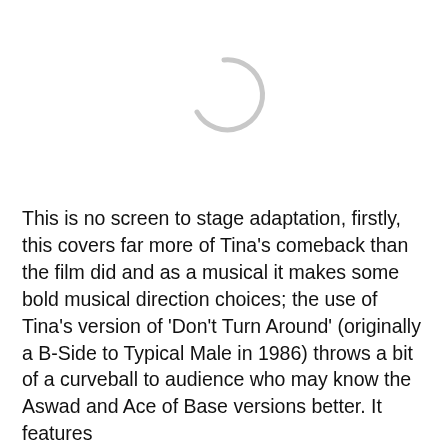[Figure (other): A loading spinner (partial circle arc, light gray) centered in the upper portion of the page]
This is no screen to stage adaptation, firstly, this covers far more of Tina's comeback than the film did and as a musical it makes some bold musical direction choices; the use of Tina's version of 'Don't Turn Around' (originally a B-Side to Typical Male in 1986) throws a bit of a curveball to audience who may know the Aswad and Ace of Base versions better. It features